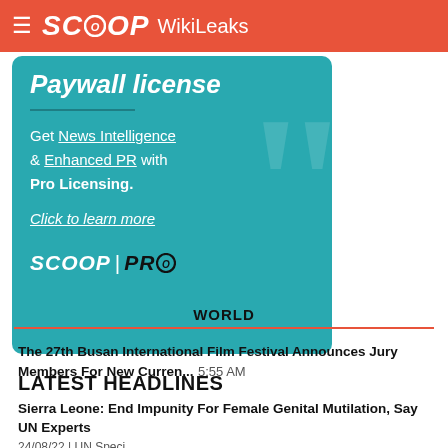SCOOP WikiLeaks
[Figure (infographic): Teal promo card for SCOOP PRO with Paywall license heading, News Intelligence, Enhanced PR, Pro Licensing text, and Click to learn more CTA with SCOOP PRO logo]
LATEST HEADLINES
WORLD
The 27th Busan International Film Festival Announces Jury Members For New Curren... 5:55 AM
Sierra Leone: End Impunity For Female Genital Mutilation, Say UN Experts 24/08/22 | UN Speci...